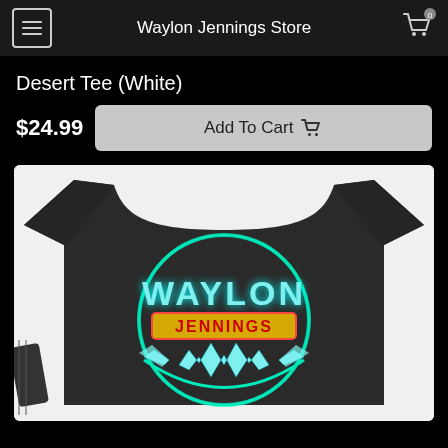Waylon Jennings Store
Desert Tee (White)
$24.99
Add To Cart
[Figure (photo): Dark navy/charcoal t-shirt with neon-style circular logo reading WAYLON JENNINGS with stylized W wings emblem in cyan, red, and yellow neon colors on a white background.]